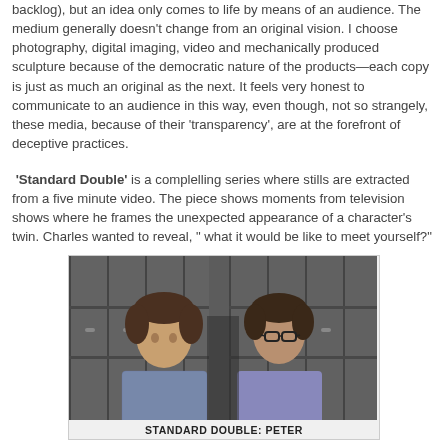backlog), but an idea only comes to life by means of an audience. The medium generally doesn't change from an original vision. I choose photography, digital imaging, video and mechanically produced sculpture because of the democratic nature of the products—each copy is just as much an original as the next. It feels very honest to communicate to an audience in this way, even though, not so strangely, these media, because of their 'transparency', are at the forefront of deceptive practices.
'Standard Double' is a complelling series where stills are extracted from a five minute video. The piece shows moments from television shows where he frames the unexpected appearance of a character's twin. Charles wanted to reveal, " what it would be like to meet yourself?"
[Figure (photo): A still from a television show showing two teenagers facing each other in front of school lockers — illustrating the concept of meeting your twin or double.]
STANDARD DOUBLE: PETER